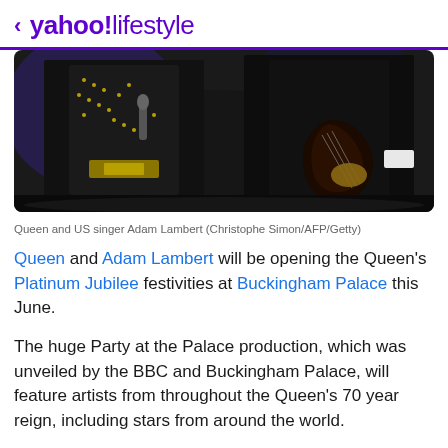< yahoo!lifestyle
[Figure (photo): Concert performance photo showing musicians in dark clothing — one in a studded leather jacket singing, another playing a dark electric guitar, on a dimly lit stage]
Queen and US singer Adam Lambert (Christophe Simon/AFP/Getty)
Queen and Adam Lambert will be opening the Queen's Platinum Jubilee festivities at Buckingham Palace this June.
The huge Party at the Palace production, which was unveiled by the BBC and Buckingham Palace, will feature artists from throughout the Queen's 70 year reign, including stars from around the world.